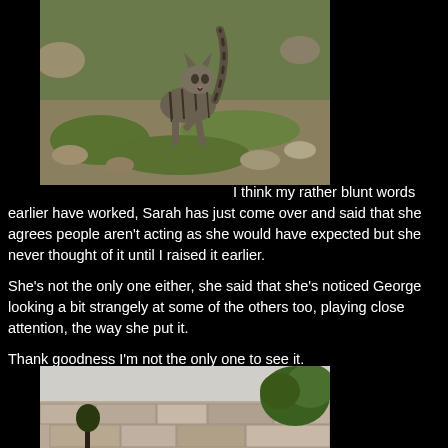[Figure (photo): A tabby cat walking/leaping outdoors on grassy rocky terrain]
I think my rather blunt words earlier have worked, Sarah has just come over and said that she agrees people aren't acting as she would have expected but she never thought of it until I raised it earlier.

She's not the only one either, she said that she's noticed George looking a bit strangely at some of the others too, playing close attention, the way she put it.

Thank goodness I'm not the only one to see it.
[Figure (photo): Partial photo of an outdoor scene with a stone wall and foliage, partially visible at bottom of page]